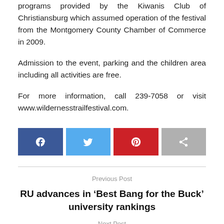programs provided by the Kiwanis Club of Christiansburg which assumed operation of the festival from the Montgomery County Chamber of Commerce in 2009.
Admission to the event, parking and the children area including all activities are free.
For more information, call 239-7058 or visit www.wildernesstrailfestival.com.
[Figure (other): Social sharing buttons: Facebook (blue), Twitter (light blue), Pinterest (red), Share (gray)]
Previous Post
RU advances in ‘Best Bang for the Buck’ university rankings
Next Post